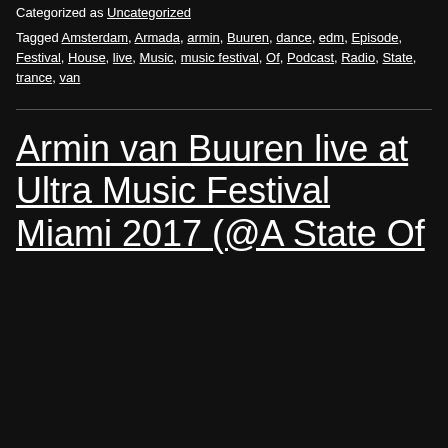Categorized as Uncategorized
Tagged Amsterdam, Armada, armin, Buuren, dance, edm, Episode, Festival, House, live, Music, music festival, Of, Podcast, Radio, State, trance, van
Armin van Buuren live at Ultra Music Festival Miami 2017 (@A State Of